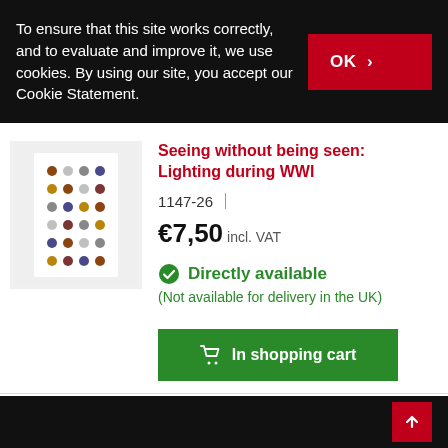To ensure that this site works correctly, and to evaluate and improve it, we use cookies. By using our site, you accept our Cookie Statement.
Seeing without being seen: Lighting during WWI
1147-26
€7,50 incl. VAT
Directly available
(Not available for delivery in the UK)
[Figure (photo): Product photo of a white display board showing multiple small military items/medals arranged in a grid pattern, on a light grey background]
In shopping cart